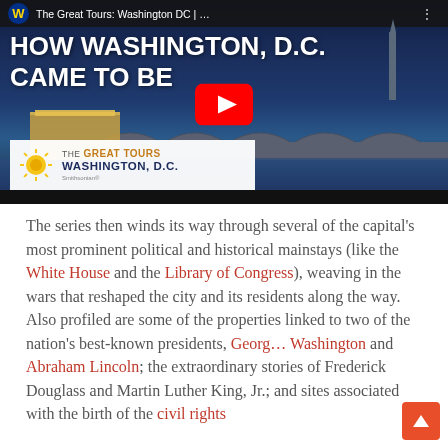[Figure (screenshot): YouTube video thumbnail for 'The Great Tours: Washington DC' showing text 'HOW WASHINGTON, D.C. CAME TO BE' overlaid on a nighttime cityscape with bridge and Washington Monument, with a red YouTube play button in the center. A Smithsonian 'The Great Tours Washington D.C.' brand bar is at the bottom left.]
The series then winds its way through several of the capital's most prominent political and historical mainstays (like the White House and the Library of Congress), weaving in the wars that reshaped the city and its residents along the way. Also profiled are some of the properties linked to two of the nation's best-known presidents, George Washington and Abraham Lincoln; the extraordinary stories of Frederick Douglass and Martin Luther King, Jr.; and sites associated with the birth of the civil rights